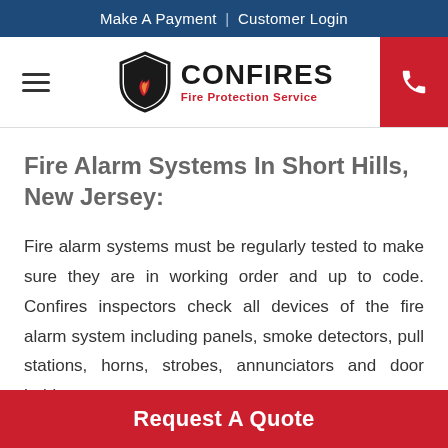Make A Payment | Customer Login
[Figure (logo): Confires Fire Protection Service logo with shield emblem, hamburger menu icon on left, and red phone button on right]
Fire Alarm Systems In Short Hills, New Jersey:
Fire alarm systems must be regularly tested to make sure they are in working order and up to code. Confires inspectors check all devices of the fire alarm system including panels, smoke detectors, pull stations, horns, strobes, annunciators and door holders every one to
Request A Quote